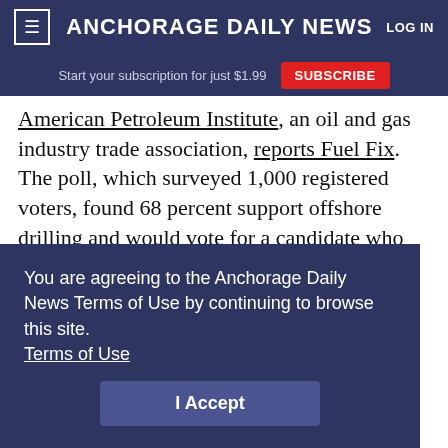Anchorage Daily News — LOG IN
Start your subscription for just $1.99  SUBSCRIBE
American Petroleum Institute, an oil and gas industry trade association, reports Fuel Fix. The poll, which surveyed 1,000 registered voters, found 68 percent support offshore drilling and would vote for a candidate who supported it. The news comes as the government has approved seismic testing to ... of the ... ups, pushing for leases in the Atlantic, as the administration prepares a next round of lease sales.
You are agreeing to the Anchorage Daily News Terms of Use by continuing to browse this site. Terms of Use  I Accept